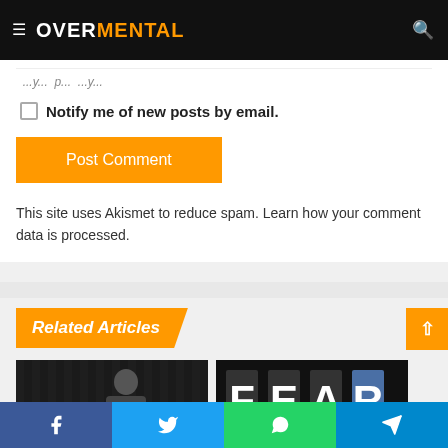OVERMENTAL
Notify me of new posts by email.
Post Comment
This site uses Akismet to reduce spam. Learn how your comment data is processed.
Related Articles
[Figure (photo): Thumbnail image of a person, dark background]
[Figure (photo): Thumbnail image with FEAR text on dark background]